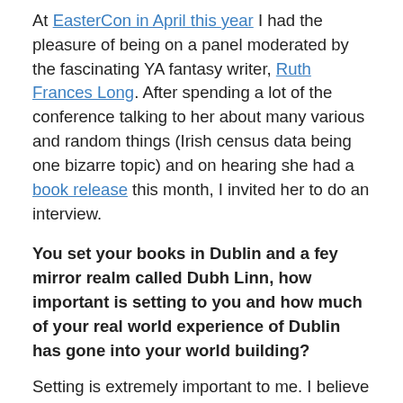At EasterCon in April this year I had the pleasure of being on a panel moderated by the fascinating YA fantasy writer, Ruth Frances Long. After spending a lot of the conference talking to her about many various and random things (Irish census data being one bizarre topic) and on hearing she had a book release this month, I invited her to do an interview.
You set your books in Dublin and a fey mirror realm called Dubh Linn, how important is setting to you and how much of your real world experience of Dublin has gone into your world building?
Setting is extremely important to me. I believe that when writing fantasy the more real world, definite details a writer can put in, the more real the world becomes and the fantasy elements become more convincing. I grew up in